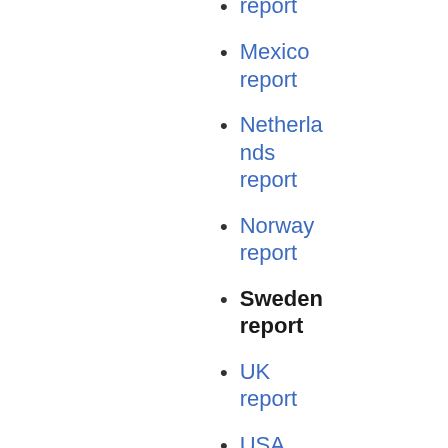report
Mexico report
Netherlands report
Norway report
Sweden report
UK report
USA